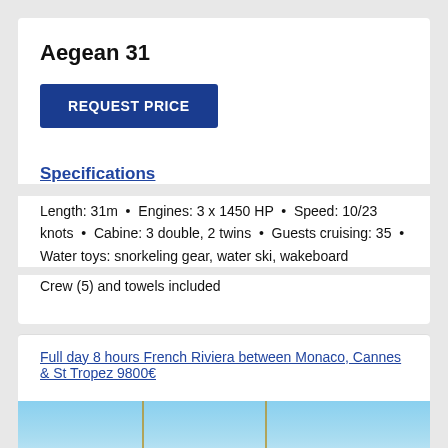Aegean 31
REQUEST PRICE
Specifications
Length: 31m  •  Engines: 3 x 1450 HP  •  Speed: 10/23 knots  •  Cabine: 3 double, 2 twins  •  Guests cruising: 35  •  Water toys: snorkeling gear, water ski, wakeboard
Crew (5) and towels included
Full day 8 hours French Riviera between Monaco, Cannes & St Tropez 9800€
[Figure (photo): Partial photo of the Aegean 31 yacht, showing blue sky and masts]